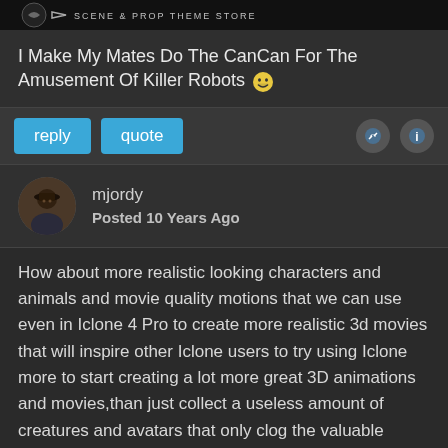[Figure (screenshot): Dark banner with logo and text 'SCENE & PROP THEME STORE']
I Make My Mates Do The CanCan For The Amusement Of Killer Robots 😄
reply   quote
mjordy
Posted 10 Years Ago
How about more realistic looking characters and animals and movie quality motions that we can use even in Iclone 4 Pro to create more realistic 3d movies that will inspire other Iclone users to try using Iclone more to start creating a lot more great 3D animations and movies,than just collect a useless amount of creatures and avatars that only clog the valuable resources of our PCs.
I mean, and not to put down Iclone movie makers,some are very competent! but when you see a movie with "jerky" animations you can almost guess it was "done in Iclone"...